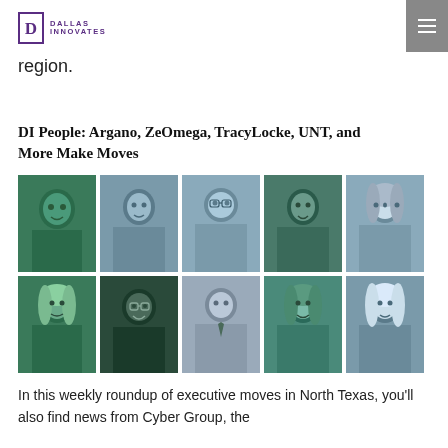Dallas Innovates
region.
DI People: Argano, ZeOmega, TracyLocke, UNT, and More Make Moves
[Figure (photo): A 2-row grid of 10 professional headshots (5 per row), tinted in green and blue tones, featuring executives from Argano, ZeOmega, TracyLocke, UNT, and other North Texas companies.]
In this weekly roundup of executive moves in North Texas, you'll also find news from Cyber Group, the